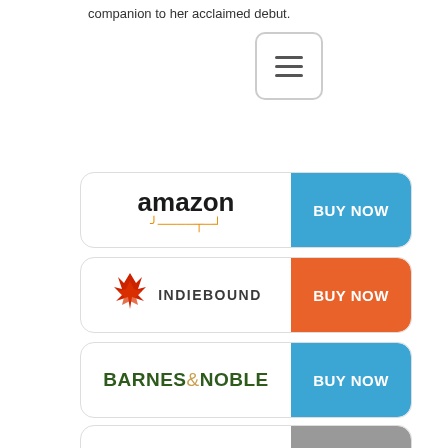companion to her acclaimed debut.
[Figure (other): Hamburger menu icon button]
[Figure (other): Amazon BUY NOW button]
[Figure (other): IndieBound BUY NOW button]
[Figure (other): Barnes & Noble BUY NOW button]
[Figure (other): Amazon Kindle BUY NOW button]
[Figure (other): Nook by Barnes & Noble BUY NOW button]
PALACE OF SILVER